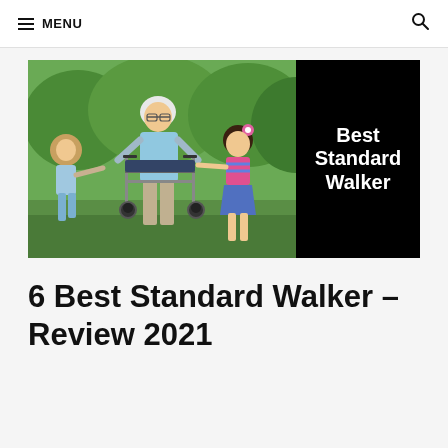MENU
[Figure (photo): Elderly woman using a rollator walker outdoors in a park, with two young children beside her. Right side has black panel with white bold text reading 'Best Standard Walker'.]
6 Best Standard Walker – Review 2021